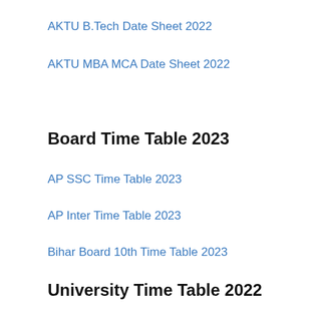AKTU B.Tech Date Sheet 2022
AKTU MBA MCA Date Sheet 2022
Board Time Table 2023
AP SSC Time Table 2023
AP Inter Time Table 2023
Bihar Board 10th Time Table 2023
University Time Table 2022